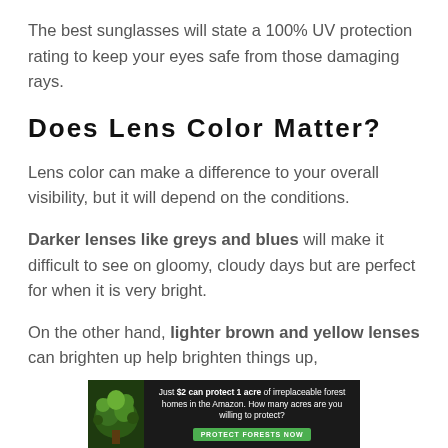The best sunglasses will state a 100% UV protection rating to keep your eyes safe from those damaging rays.
Does Lens Color Matter?
Lens color can make a difference to your overall visibility, but it will depend on the conditions.
Darker lenses like greys and blues will make it difficult to see on gloomy, cloudy days but are perfect for when it is very bright.
On the other hand, lighter brown and yellow lenses can brighten up help brighten things up,
[Figure (infographic): Advertisement banner: forest conservation ad reading 'Just $2 can protect 1 acre of irreplaceable forest homes in the Amazon. How many acres are you willing to protect?' with a green 'Protect Forests Now' button]